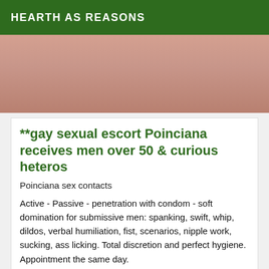HEARTH AS REASONS
[Figure (photo): Close-up photo with flesh tones and red fabric]
**gay sexual escort Poinciana receives men over 50 & curious heteros
Poinciana sex contacts
Active - Passive - penetration with condom - soft domination for submissive men: spanking, swift, whip, dildos, verbal humiliation, fist, scenarios, nipple work, sucking, ass licking. Total discretion and perfect hygiene. Appointment the same day.
[Figure (photo): Photo showing a person on a wooden surface with striped fabric]